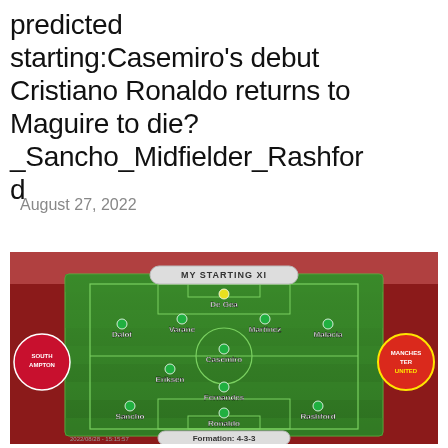predicted starting:Casemiro's debut Cristiano Ronaldo returns to Maguire to die? _Sancho_Midfielder_Rashford
August 27, 2022
[Figure (infographic): Football lineup graphic showing 'MY STARTING XI' on a green pitch. Formation 4-3-3. Players: De Gea (GK), Varane, Martinez (CB), Dalot, Malacia (FB), Casemiro, Eriksen, Fernandes (MF), Sancho, Ronaldo, Rashford (FW). Southampton and Manchester United logos on sides. Formation: 4-3-3.]